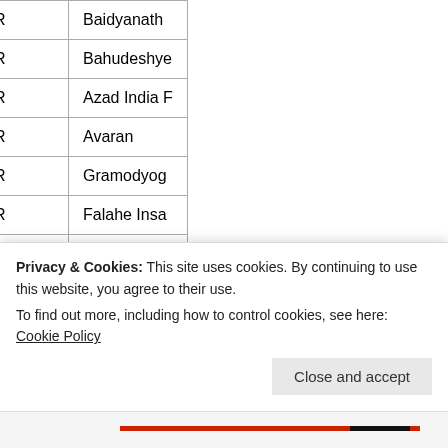| # | ID | Name |
| --- | --- | --- |
| 630 | 031170327R | Baidyanath |
| 631 | 031090064R | Bahudeshye |
| 632 | 031050002R | Azad India F |
| 633 | 031170244R | Avaran |
| 634 | 031170088R | Gramodyog |
| 635 | 031140052R | Falahe Insa |
| 636 | 031230001R | Rasulpur Ja |
| 637 | 031190008R | Good Books |
| 638 | 031190031R | Ursuline Act |
| 639 | 031090070R | Ecolels De L |
|  |  | WELFA... |
Privacy & Cookies: This site uses cookies. By continuing to use this website, you agree to their use.
To find out more, including how to control cookies, see here: Cookie Policy
Close and accept